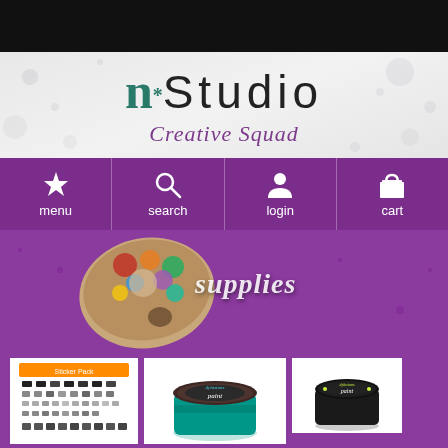[Figure (screenshot): Dark top navigation bar]
[Figure (logo): n*Studio Creative Squad logo on light gray speckled background]
[Figure (screenshot): Purple navigation bar with menu, search, login, and cart icons]
[Figure (screenshot): Purple supplies section with paint palette image and 'supplies' text]
[Figure (screenshot): Product listing area showing craft supplies: sticker sheet, Dylusions paint teal, Dylusions paint black]